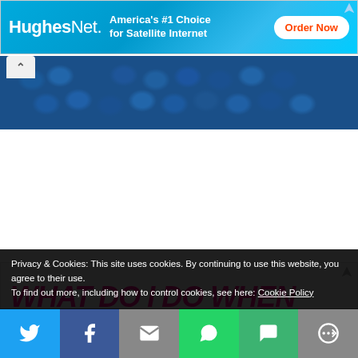[Figure (screenshot): HughesNet advertisement banner: 'America's #1 Choice for Satellite Internet' with 'Order Now' button on blue background]
[Figure (photo): Close-up photo of blue crocheted yarn/textile]
[Figure (screenshot): Advertisement with large pink/magenta bold italic text reading 'WHAT DO I DO WHEN I LOSE MY HEALTH PLAN?' on light gray background, with partial photo of a person below]
Privacy & Cookies: This site uses cookies. By continuing to use this website, you agree to their use.
To find out more, including how to control cookies, see here: Cookie Policy
[Figure (infographic): Social sharing bar with icons: Twitter (blue), Facebook (dark blue), Email (gray), WhatsApp (green), SMS (green), More (gray)]